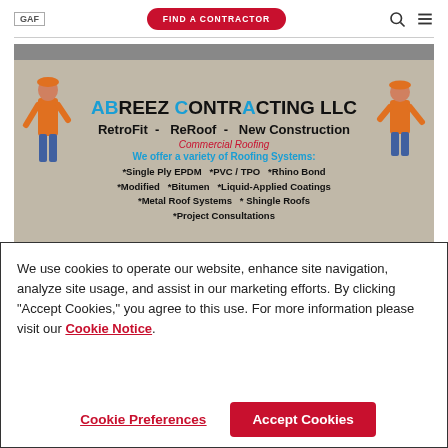GAF | FIND A CONTRACTOR
[Figure (photo): Abreez Contracting LLC advertisement showing two workers on a rooftop. Text reads: ABREEZ CONTRACTING LLC, RetroFit - ReRoof - New Construction, Commercial Roofing, We offer a variety of Roofing Systems: *Single Ply EPDM *PVC/TPO *Rhino Bond *Modified *Bitumen *Liquid-Applied Coatings *Metal Roof Systems *Shingle Roofs *Project Consultations]
We use cookies to operate our website, enhance site navigation, analyze site usage, and assist in our marketing efforts. By clicking "Accept Cookies," you agree to this use. For more information please visit our Cookie Notice.
Cookie Preferences | Accept Cookies